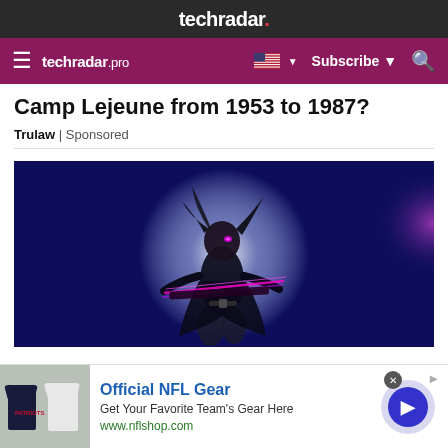techradar.
techradar pro  Subscribe
Camp Lejeune from 1953 to 1987?
Trulaw | Sponsored
[Figure (illustration): Digital art illustration of a sci-fi female character with dark hair, glowing pink eyes, wielding a glowing energy weapon, standing in front of a large white glowing circle on a dark blue background with purple accents]
Official NFL Gear
Get Your Favorite Team's Gear Here
www.nflshop.com